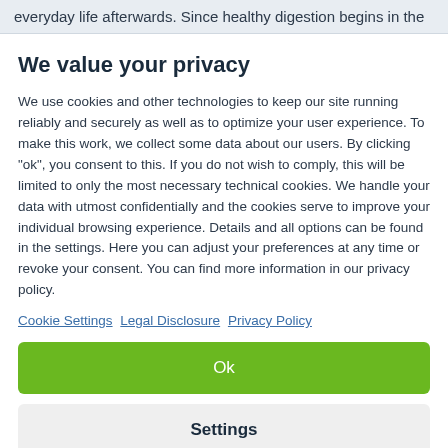everyday life afterwards. Since healthy digestion begins in the
We value your privacy
We use cookies and other technologies to keep our site running reliably and securely as well as to optimize your user experience. To make this work, we collect some data about our users. By clicking "ok", you consent to this. If you do not wish to comply, this will be limited to only the most necessary technical cookies. We handle your data with utmost confidentially and the cookies serve to improve your individual browsing experience. Details and all options can be found in the settings. Here you can adjust your preferences at any time or revoke your consent. You can find more information in our privacy policy.
Cookie Settings  Legal Disclosure  Privacy Policy
Ok
Settings